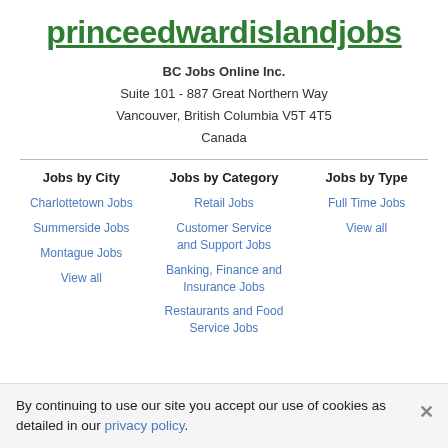princeedwardislandjobs
BC Jobs Online Inc.
Suite 101 - 887 Great Northern Way
Vancouver, British Columbia V5T 4T5
Canada
Jobs by City
Jobs by Category
Jobs by Type
Charlottetown Jobs
Retail Jobs
Full Time Jobs
Summerside Jobs
Customer Service and Support Jobs
View all
Montague Jobs
Banking, Finance and Insurance Jobs
View all
Restaurants and Food Service Jobs
By continuing to use our site you accept our use of cookies as detailed in our privacy policy.